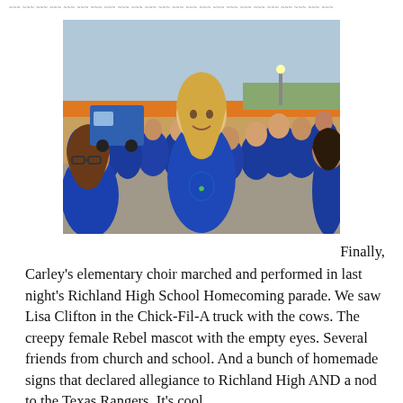~~~ ~~~ ~~~ ~~~ ~~~ ~~~ ~~~ ~~~ ~~~ ~~~ ~~~ ~~~ ~~~ ~~~ ~~~ ~~~ ~~~ ~~~ ~~~ ~~~ ~~~
[Figure (photo): Group of children and young students wearing matching blue t-shirts, apparently a school choir, gathered outdoors at what appears to be a parade setting. A blond girl is prominently in the center foreground, with many other students in blue shirts visible behind her. Vehicles and a parking lot are visible in the background.]
Finally, Carley's elementary choir marched and performed in last night's Richland High School Homecoming parade. We saw Lisa Clifton in the Chick-Fil-A truck with the cows. The creepy female Rebel mascot with the empty eyes. Several friends from church and school. And a bunch of homemade signs that declared allegiance to Richland High AND a nod to the Texas Rangers. It's cool